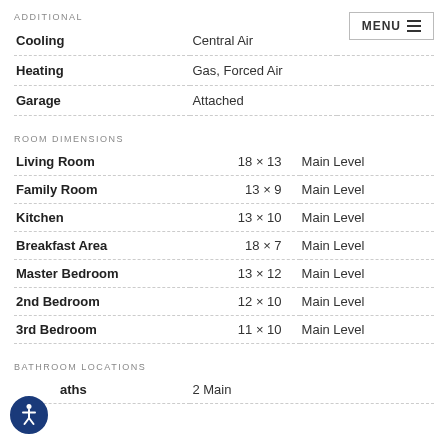ADDITIONAL
| Cooling | Central Air |  |
| Heating | Gas, Forced Air |  |
| Garage | Attached |  |
ROOM DIMENSIONS
| Living Room | 18 × 13 | Main Level |
| Family Room | 13 × 9 | Main Level |
| Kitchen | 13 × 10 | Main Level |
| Breakfast Area | 18 × 7 | Main Level |
| Master Bedroom | 13 × 12 | Main Level |
| 2nd Bedroom | 12 × 10 | Main Level |
| 3rd Bedroom | 11 × 10 | Main Level |
BATHROOM LOCATIONS
| Baths | 2 Main |  |